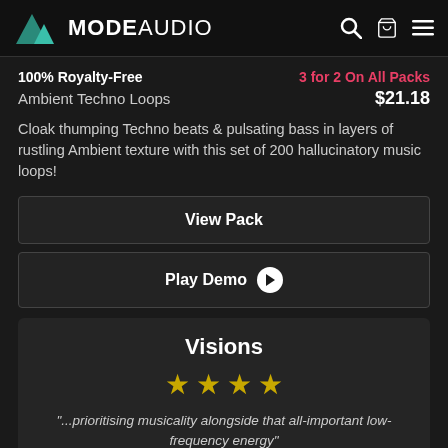MODE AUDIO
100% Royalty-Free | 3 for 2 On All Packs
Ambient Techno Loops $21.18
Cloak thumping Techno beats & pulsating bass in layers of rustling Ambient texture with this set of 200 hallucinatory music loops!
View Pack
Play Demo
Visions
★★★★
"...prioritising musicality alongside that all-important low-frequency energy"